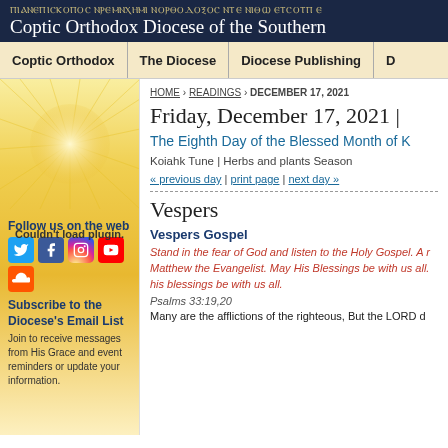ⲠⲒⲀⲚⲈⲠⲒⲤⲔⲞⲠⲞⲤ ⲚⲢⲈⲘⲚⲬⲎⲘⲒ ⲚⲞⲢⲐⲞⲆⲞⲜⲞⲤ ⲚⲦⲈ ⲚⲒⲐⲰ ⲈⲦⲤⲞⲦⲠ Coptic Orthodox Diocese of the Southern
Coptic Orthodox | The Diocese | Diocese Publishing | D
HOME › READINGS › DECEMBER 17, 2021
Friday, December 17, 2021 |
The Eighth Day of the Blessed Month of K
Koiahk Tune | Herbs and plants Season
« previous day | print page | next day »
Vespers
Vespers Gospel
Stand in the fear of God and listen to the Holy Gospel. A r Matthew the Evangelist. May His Blessings be with us all. his blessings be with us all.
Psalms 33:19,20
Many are the afflictions of the righteous, But the LORD d
Couldn't load plugin.
Follow us on the web
Subscribe to the Diocese's Email List
Join to receive messages from His Grace and event reminders or update your information.